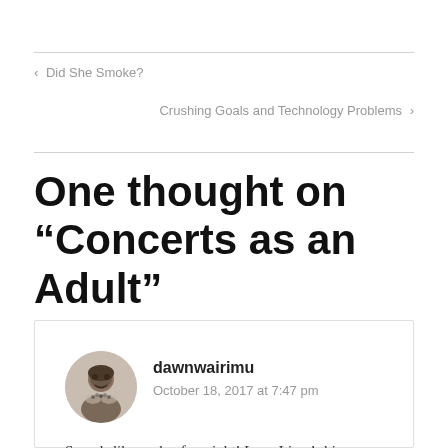‹ Did She Smoke?
Crushing Goals and Technology Problems ›
One thought on “Concerts as an Adult”
dawnwairimu
October 18, 2017 at 7:47 pm
Sounds like such a fun night! Love Liam’s big